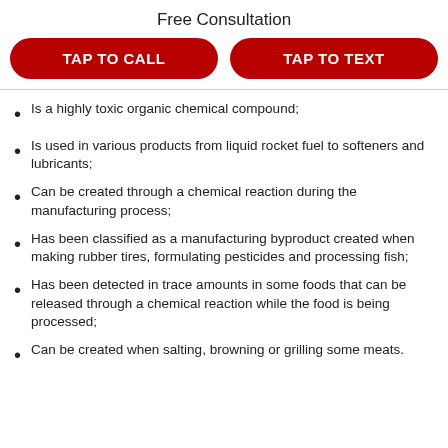Free Consultation
TAP TO CALL
TAP TO TEXT
Is a highly toxic organic chemical compound;
Is used in various products from liquid rocket fuel to softeners and lubricants;
Can be created through a chemical reaction during the manufacturing process;
Has been classified as a manufacturing byproduct created when making rubber tires, formulating pesticides and processing fish;
Has been detected in trace amounts in some foods that can be released through a chemical reaction while the food is being processed;
Can be created when salting, browning or grilling some meats.